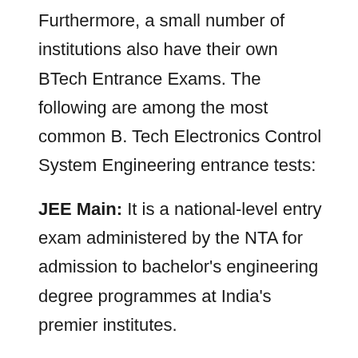Furthermore, a small number of institutions also have their own BTech Entrance Exams. The following are among the most common B. Tech Electronics Control System Engineering entrance tests:
JEE Main: It is a national-level entry exam administered by the NTA for admission to bachelor's engineering degree programmes at India's premier institutes.
JEE Advanced: This is yet another national-level entrance exam conducted online by the Indian Institutes of Technology (IITs). Students must